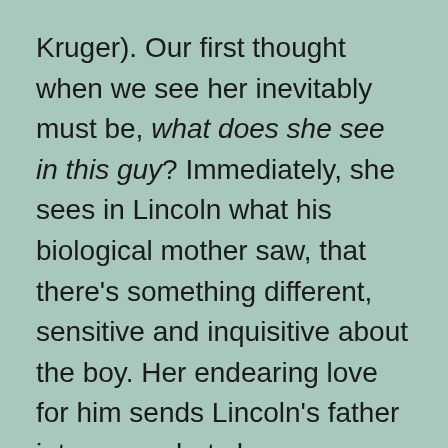Kruger). Our first thought when we see her inevitably must be, what does she see in this guy? Immediately, she sees in Lincoln what his biological mother saw, that there's something different, sensitive and inquisitive about the boy. Her endearing love for him sends Lincoln's father into a rage but she manages to get him in school, where his teacher (Wes Bentley) also recognizes the obvious potential.
Clarke conveys paternal intimidation with a forcefulness in line with his prior film roles. Denny is a star in the making and keeps us riveted, though Kruger's touching work stayed